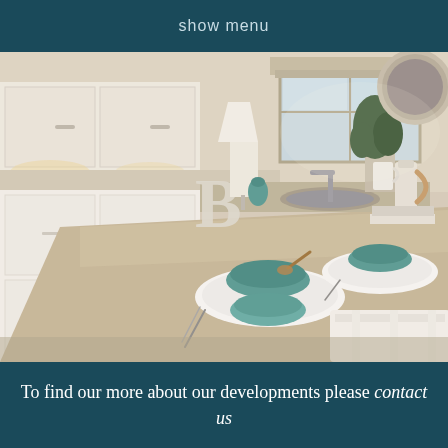show menu
[Figure (photo): Interior kitchen photo showing a modern kitchen with white glossy cabinets, a large beige/tan countertop island with teal/turquoise ceramic bowls on white plates, cutlery, a window with natural light, decorative items including a lamp, plant, and a large letter B ornament, and white dining chairs.]
To find our more about our developments please contact us